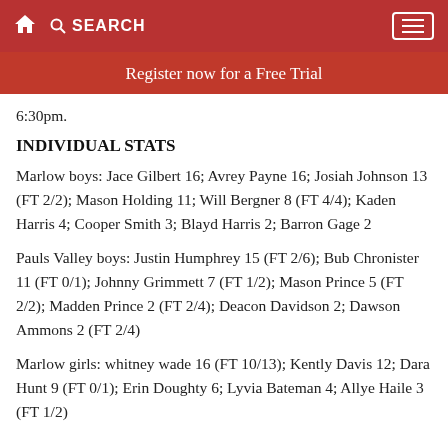SEARCH
Register now for a Free Trial
6:30pm.
INDIVIDUAL STATS
Marlow boys: Jace Gilbert 16; Avrey Payne 16; Josiah Johnson 13 (FT 2/2); Mason Holding 11; Will Bergner 8 (FT 4/4); Kaden Harris 4; Cooper Smith 3; Blayd Harris 2; Barron Gage 2
Pauls Valley boys: Justin Humphrey 15 (FT 2/6); Bub Chronister 11 (FT 0/1); Johnny Grimmett 7 (FT 1/2); Mason Prince 5 (FT 2/2); Madden Prince 2 (FT 2/4); Deacon Davidson 2; Dawson Ammons 2 (FT 2/4)
Marlow girls: whitney wade 16 (FT 10/13); Kently Davis 12; Dara Hunt 9 (FT 0/1); Erin Doughty 6; Lyvia Bateman 4; Allye Haile 3 (FT 1/2)